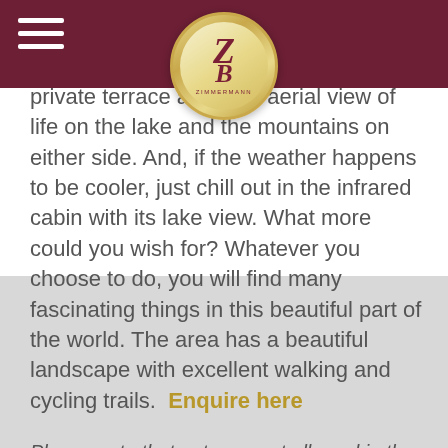Zimmermann logo header with navigation
private terrace and take aerial view of life on the lake and the mountains on either side. And, if the weather happens to be cooler, just chill out in the infrared cabin with its lake view. What more could you wish for? Whatever you choose to do, you will find many fascinating things in this beautiful part of the world. The area has a beautiful landscape with excellent walking and cycling trails. Enquire here
Please note that pets are not allowed in the boathouse.
[Figure (other): Gray placeholder area at the bottom of the page]